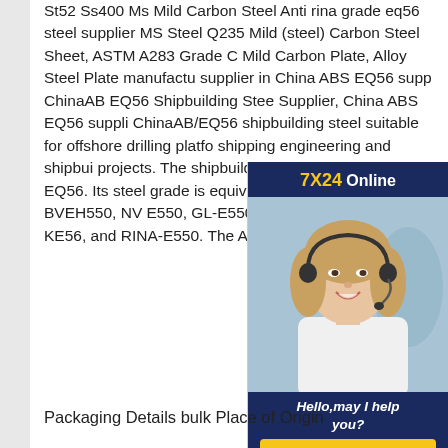St52 Ss400 Ms Mild Carbon Steel Anti rina grade eq56 steel supplier MS Steel Q235 Mild (steel) Carbon Steel Sheet, ASTM A283 Grade C Mild Carbon Plate, Alloy Steel Plate manufacturer supplier in China ABS EQ56 supplier ChinaAB EQ56 Shipbuilding Steel Supplier, China ABS EQ56 supplier ChinaAB/EQ56 shipbuilding steel suitable for offshore drilling platform shipping engineering and shipbuilding projects. The shipbuilding steel plate ABS grade EQ56. Its steel grade is equivalent with CCSEH550, BVEH550, NV E550, GL-E550, KREH56, LREH55, KE56, and RINA-E550. The AB/EQ56
[Figure (other): Chat widget with '7X24 Online' header in blue and gold, photo of smiling woman with headset, 'Hello, may I help you?' text, and 'Get Latest Price' yellow button]
Packaging Details bulk Place of Origin